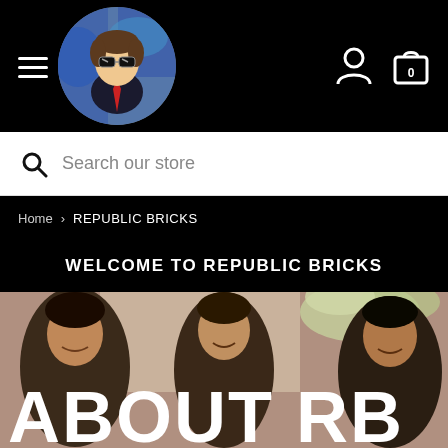[Figure (screenshot): Black navigation header with hamburger menu icon on left, circular cartoon logo in center-left, user account icon and shopping bag icon (with 0) on right]
Search our store
Home > REPUBLIC BRICKS
WELCOME TO REPUBLIC BRICKS
[Figure (photo): Photo of three young men smiling, outdoors. Large white bold text overlay reading 'ABOUT RB' at the bottom.]